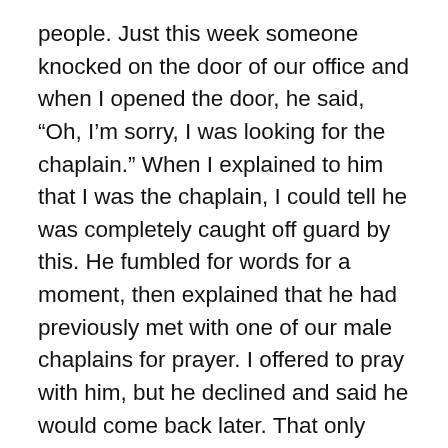people. Just this week someone knocked on the door of our office and when I opened the door, he said, "Oh, I'm sorry, I was looking for the chaplain." When I explained to him that I was the chaplain, I could tell he was completely caught off guard by this. He fumbled for words for a moment, then explained that he had previously met with one of our male chaplains for prayer. I offered to pray with him, but he declined and said he would come back later. That only happens occasionally. Usually once people get over the initial surprise, they open up to me and find that I'm able to meet their pastoral care needs, even if I'm not what they expected. There have been times when my presence as a young (and very short) woman has been disarming, usually with men expressing their grief in loud and angry ways. They expect me to be scared away, I think, but when they find that I don't turn and run from their anger, their surprise is often enough to make a crack in the facade that allows them to start to open with the...